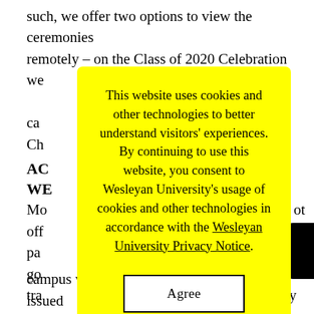such, we offer two options to view the ceremonies remotely – on the Class of 2020 Celebration we[bsite] ca[n] Ch[...]
AC[...] WE[...] T
Mo[...] not off[...] pa[...] ng go[...] n tra[...] ty sec[...] . off[...] els[...]
[Figure (screenshot): Cookie consent modal dialog with yellow background. Text reads: 'This website uses cookies and other technologies to better understand visitors' experiences. By continuing to use this website, you consent to Wesleyan University's usage of cookies and other technologies in accordance with the Wesleyan University Privacy Notice.' with an 'Agree' button below.]
ma[...] campus with a properly displayed state-issued